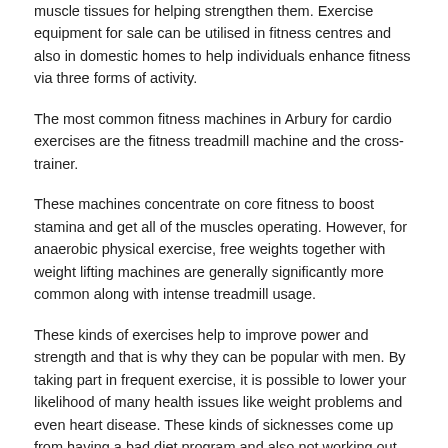muscle tissues for helping strengthen them. Exercise equipment for sale can be utilised in fitness centres and also in domestic homes to help individuals enhance fitness via three forms of activity.
The most common fitness machines in Arbury for cardio exercises are the fitness treadmill machine and the cross-trainer.
These machines concentrate on core fitness to boost stamina and get all of the muscles operating. However, for anaerobic physical exercise, free weights together with weight lifting machines are generally significantly more common along with intense treadmill usage.
These kinds of exercises help to improve power and strength and that is why they can be popular with men. By taking part in frequent exercise, it is possible to lower your likelihood of many health issues like weight problems and even heart disease. These kinds of sicknesses come up from having a bad diet program and also not working out regularly - diet and fitness ought to go hand in hand.
Other Gym Equipment We Sell